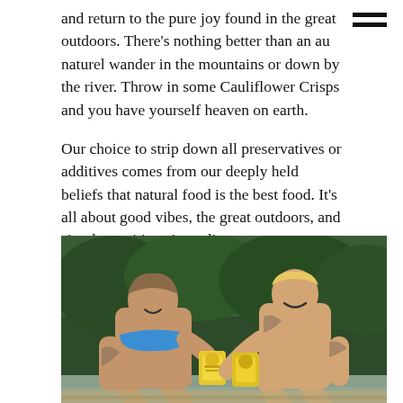and return to the pure joy found in the great outdoors. There's nothing better than an au naturel wander in the mountains or down by the river. Throw in some Cauliflower Crisps and you have yourself heaven on earth.

Our choice to strip down all preservatives or additives comes from our deeply held beliefs that natural food is the best food. It's all about good vibes, the great outdoors, and simple nutritious ingredients.
[Figure (photo): Two tattooed people sitting outdoors near water with green trees in the background, sharing snacks from yellow Cauliflower Crisps bags. One person wears a blue bikini top, the other is shirtless.]